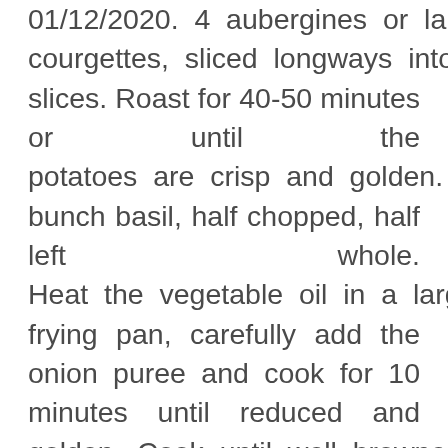01/12/2020. 4 aubergines or large courgettes, sliced longways into 5mm slices. Roast for 40-50 minutes or until the potatoes are crisp and golden. A small bunch basil, half chopped, half left whole. Heat the vegetable oil in a large, deep frying pan, carefully add the onion puree and cook for 10 minutes until reduced and golden. Cook until well browned and cooked through – this will take 5-7 minutes. Tip the tomato sauce into a pan and bring to the boil. Cook the spaghetti as per the packet instructions. Sprinkle with cheddar, the basil leaves and seasoning. Turn up the heat and add the